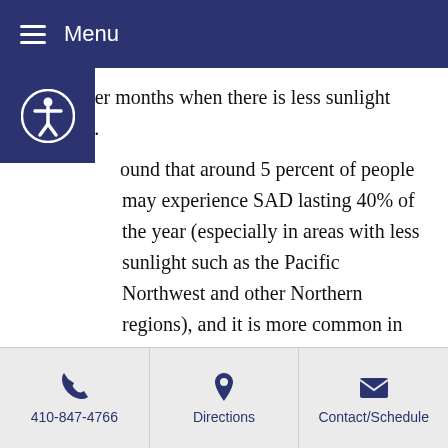Menu
and Winter months when there is less sunlight exposure.
ound that around 5 percent of people may experience SAD lasting 40% of the year (especially in areas with less sunlight such as the Pacific Northwest and other Northern regions), and it is more common in women than in men.
SYMPTOMS OF SAD
The most common symptom of SAD is a feeling of sadness or a depressed mood. Other symptoms may
410-847-4766   Directions   Contact/Schedule